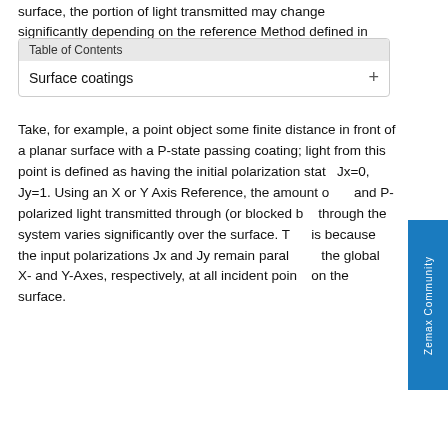surface, the portion of light transmitted may change significantly depending on the reference Method defined in
Table of Contents
Surface coatings +
Take, for example, a point object some finite distance in front of a planar surface with a P-state passing coating; light from this point is defined as having the initial polarization state Jx=0, Jy=1. Using an X or Y Axis Reference, the amount of S- and P-polarized light transmitted through (or blocked by) passing through the system varies significantly over the surface. This is because the input polarizations Jx and Jy remain parallel to the global X- and Y-Axes, respectively, at all incident points on the surface.
| Input | Blocked State (S-State) | Output (P-State) |
| --- | --- | --- |
| [diagram] | [diagram] | [diagram] |